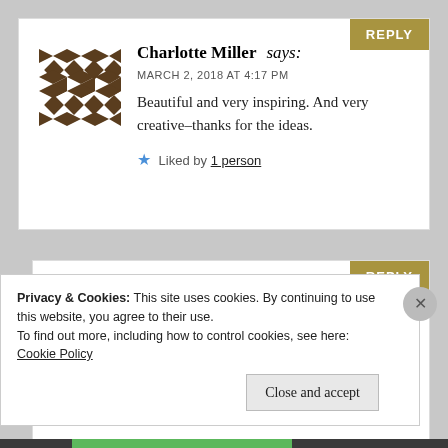Charlotte Miller says: MARCH 2, 2018 AT 4:17 PM. Beautiful and very inspiring. And very creative–thanks for the ideas. Liked by 1 person
terrigardner1 says: MARCH 2, 2018 AT 9:31 PM
Privacy & Cookies: This site uses cookies. By continuing to use this website, you agree to their use. To find out more, including how to control cookies, see here: Cookie Policy
Close and accept